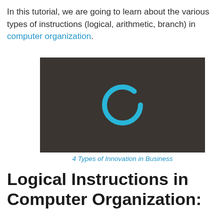In this tutorial, we are going to learn about the various types of instructions (logical, arithmetic, branch) in computer organization.
[Figure (other): Dark-themed video thumbnail with a circular loading/play icon in cyan/blue color centered on a dark brown-gray background]
4 Types of Innovation in Business
Logical Instructions in Computer Organization: